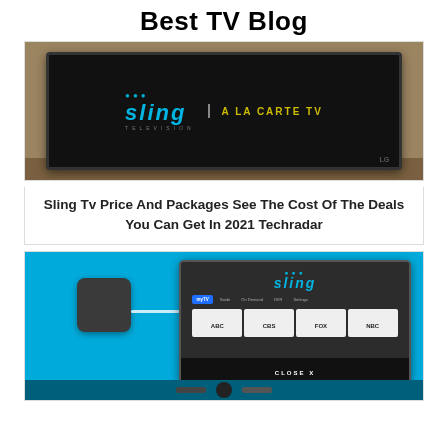Best TV Blog
[Figure (photo): A TV set on a wooden surface displaying the Sling Television 'A La Carte TV' logo on a black screen]
Sling Tv Price And Packages See The Cost Of The Deals You Can Get In 2021 Techradar
[Figure (photo): A flat antenna connected by white cable to a TV monitor showing the Sling TV interface with channel logos ABC, CBS, FOX, NBC, on a blue background]